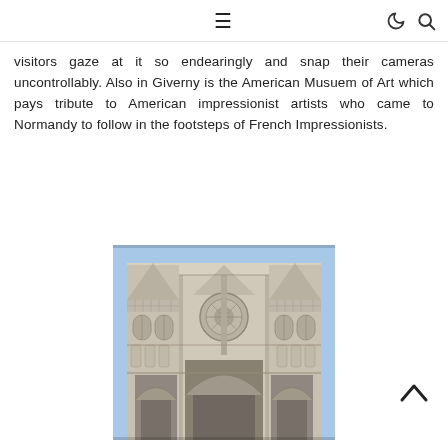≡ ☾ 🔍
visitors gaze at it so endearingly and snap their cameras uncontrollably. Also in Giverny is the American Musuem of Art which pays tribute to American impressionist artists who came to Normandy to follow in the footsteps of French Impressionists.
[Figure (photo): Black and white photograph of the facade of Rouen Cathedral, showing ornate Gothic architecture with detailed stone carvings, arched entrance portals, and tall spires against a blue sky.]